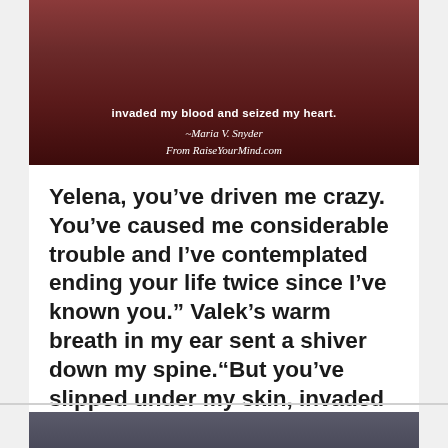[Figure (photo): A scenic image of a red poppy field with overlaid white text showing a quote and attribution to Maria V. Snyder from RaiseYourMind.com. Text reads: 'invaded my blood and seized my heart.' with attribution '~Maria V. Snyder / From RaiseYourMind.com']
Yelena, you’ve driven me crazy. You’ve caused me considerable trouble and I’ve contemplated ending your life twice since I’ve known you.” Valek’s warm breath in my ear sent a shiver down my spine.“But you’ve slipped under my skin, invaded my blood and seized my heart.
love quotes
[Figure (photo): Partial view of another image at the bottom of the page, showing a dark purple/gray background, beginning of another quote card.]